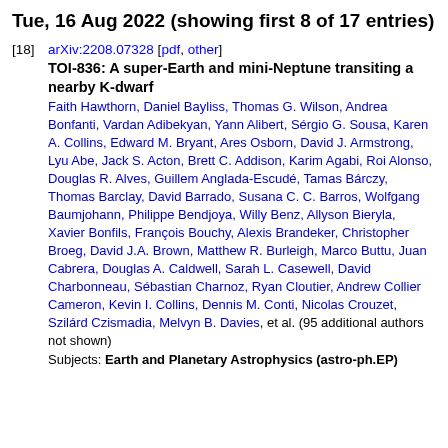Tue, 16 Aug 2022 (showing first 8 of 17 entries)
[18] arXiv:2208.07328 [pdf, other]
TOI-836: A super-Earth and mini-Neptune transiting a nearby K-dwarf
Faith Hawthorn, Daniel Bayliss, Thomas G. Wilson, Andrea Bonfanti, Vardan Adibekyan, Yann Alibert, Sérgio G. Sousa, Karen A. Collins, Edward M. Bryant, Ares Osborn, David J. Armstrong, Lyu Abe, Jack S. Acton, Brett C. Addison, Karim Agabi, Roi Alonso, Douglas R. Alves, Guillem Anglada-Escudé, Tamas Bárczy, Thomas Barclay, David Barrado, Susana C. C. Barros, Wolfgang Baumjohann, Philippe Bendjoya, Willy Benz, Allyson Bieryla, Xavier Bonfils, François Bouchy, Alexis Brandeker, Christopher Broeg, David J.A. Brown, Matthew R. Burleigh, Marco Buttu, Juan Cabrera, Douglas A. Caldwell, Sarah L. Casewell, David Charbonneau, Sébastian Charnoz, Ryan Cloutier, Andrew Collier Cameron, Kevin I. Collins, Dennis M. Conti, Nicolas Crouzet, Szilárd Czismadia, Melvyn B. Davies, et al. (95 additional authors not shown)
Subjects: Earth and Planetary Astrophysics (astro-ph.EP)